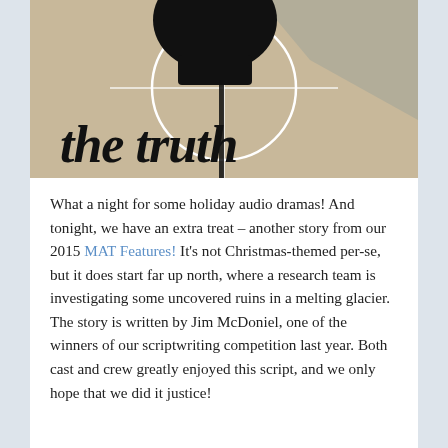[Figure (illustration): A stylized black and white logo image showing a large dark silhouetted figure at top, a circular target/crosshair design with a thin white circle and crosshairs, angled light-colored geometric shapes in the background, and bold italic text at the bottom reading 'the truth' in a brush-script font.]
What a night for some holiday audio dramas!  And tonight, we have an extra treat – another story from our 2015 MAT Features!  It's not Christmas-themed per-se, but it does start far up north, where a research team is investigating some uncovered ruins in a melting glacier. The story is written by Jim McDoniel, one of the winners of our scriptwriting competition last year. Both cast and crew greatly enjoyed this script, and we only hope that we did it justice!